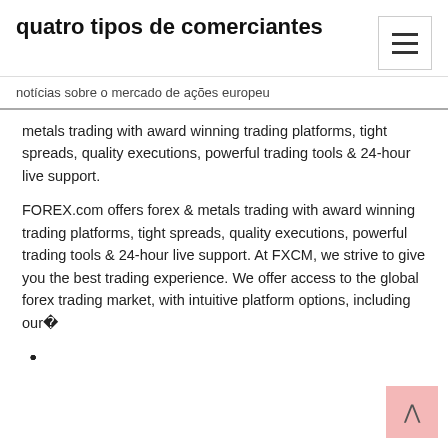quatro tipos de comerciantes
notícias sobre o mercado de ações europeu
metals trading with award winning trading platforms, tight spreads, quality executions, powerful trading tools & 24-hour live support.
FOREX.com offers forex & metals trading with award winning trading platforms, tight spreads, quality executions, powerful trading tools & 24-hour live support. At FXCM, we strive to give you the best trading experience. We offer access to the global forex trading market, with intuitive platform options, including our�